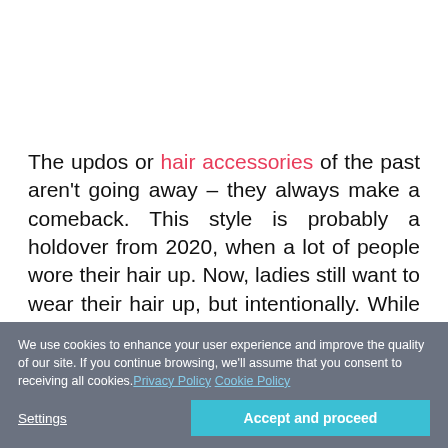The updos or hair accessories of the past aren't going away – they always make a comeback. This style is probably a holdover from 2020, when a lot of people wore their hair up. Now, ladies still want to wear their hair up, but intentionally. While these looks require a bit of effort, the somewhat 2000s appearance is what makes them charming.
We use cookies to enhance your user experience and improve the quality of our site. If you continue browsing, we'll assume that you consent to receiving all cookies. Privacy Policy Cookie Policy